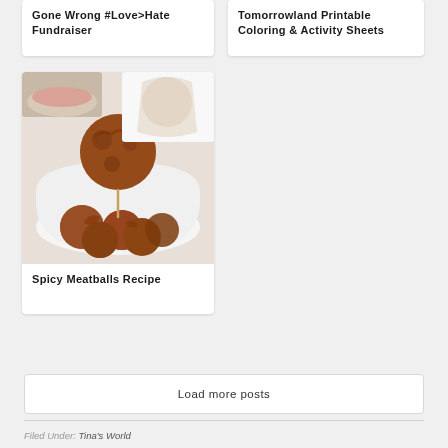Gone Wrong #Love>Hate Fundraiser
Tomorrowland Printable Coloring & Activity Sheets
[Figure (photo): Photo of spicy meatballs in a white bowl, one meatball held on a toothpick]
Spicy Meatballs Recipe
Load more posts
Filed Under: Tina's World